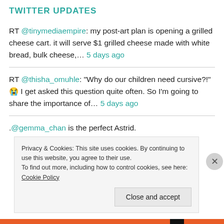TWITTER UPDATES
RT @tinymediaempire: my post-art plan is opening a grilled cheese cart. it will serve $1 grilled cheese made with white bread, bulk cheese,... 5 days ago
RT @thisha_omuhle: “Why do our children need cursive?!” 😭 I get asked this question quite often. So I’m going to share the importance of... 5 days ago
.@gemma_chan is the perfect Astrid.
Privacy & Cookies: This site uses cookies. By continuing to use this website, you agree to their use.
To find out more, including how to control cookies, see here: Cookie Policy
Close and accept